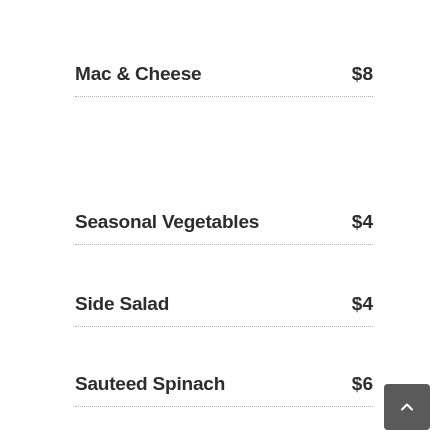Mac & Cheese $8
Seasonal Vegetables $4
Side Salad $4
Sauteed Spinach $6